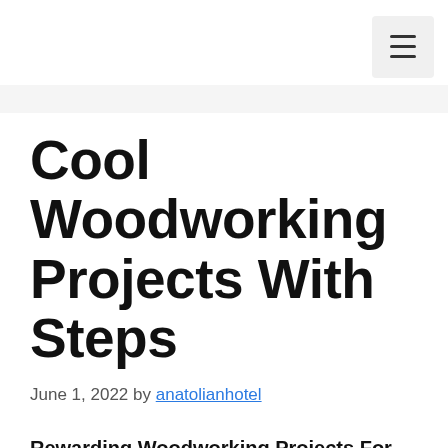Menu button
Cool Woodworking Projects With Steps
June 1, 2022 by anatolianhotel
Rewarding Woodworking Projects For